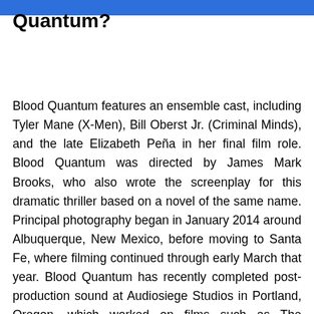Quantum?
Blood Quantum features an ensemble cast, including Tyler Mane (X-Men), Bill Oberst Jr. (Criminal Minds), and the late Elizabeth Peña in her final film role. Blood Quantum was directed by James Mark Brooks, who also wrote the screenplay for this dramatic thriller based on a novel of the same name. Principal photography began in January 2014 around Albuquerque, New Mexico, before moving to Santa Fe, where filming continued through early March that year. Blood Quantum has recently completed post-production sound at Audiosiege Studios in Portland, Oregon, which worked on films such as The Avengers: Age of Ultron, Gone Girl, Interstellar.